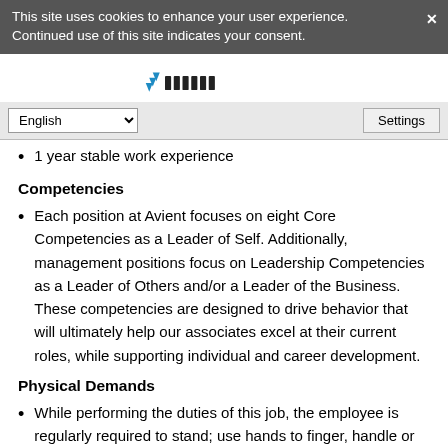This site uses cookies to enhance your user experience. Continued use of this site indicates your consent.
1 year stable work experience
Competencies
Each position at Avient focuses on eight Core Competencies as a Leader of Self.  Additionally, management positions focus on Leadership Competencies as a Leader of Others and/or a Leader of the Business.  These competencies are designed to drive behavior that will ultimately help our associates excel at their current roles, while supporting individual and career development.
Physical Demands
While performing the duties of this job, the employee is regularly required to stand; use hands to finger, handle or feel; and reach with hands and arms.  The employee is